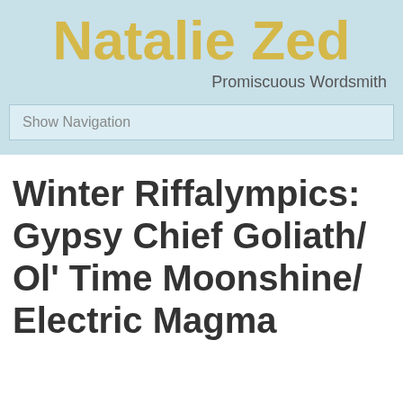Natalie Zed
Promiscuous Wordsmith
Show Navigation
Winter Riffalympics: Gypsy Chief Goliath/ Ol' Time Moonshine/ Electric Magma